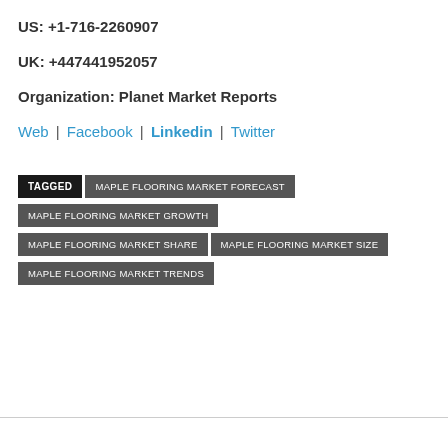US: +1-716-2260907
UK: +447441952057
Organization: Planet Market Reports
Web | Facebook | Linkedin | Twitter
TAGGED MAPLE FLOORING MARKET FORECAST
MAPLE FLOORING MARKET GROWTH
MAPLE FLOORING MARKET SHARE
MAPLE FLOORING MARKET SIZE
MAPLE FLOORING MARKET TRENDS